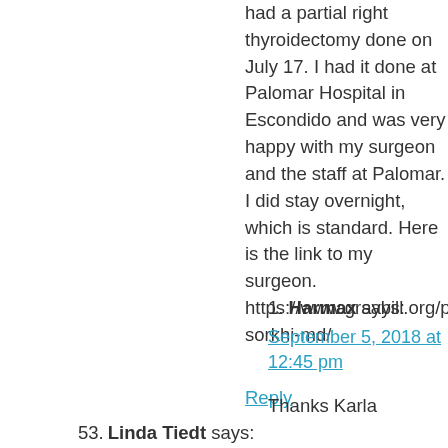had a partial right thyroidectomy done on July 17. I had it done at Palomar Hospital in Escondido and was very happy with my surgeon and the staff at Palomar. I did stay overnight, which is standard. Here is the link to my surgeon. https://www.graybill.org/physicians/ramin-sorkhi-md/
Reply
1. Harmax says: September 5, 2018 at 12:45 pm
Thanks Karla
Reply
53. Linda Tiedt says: